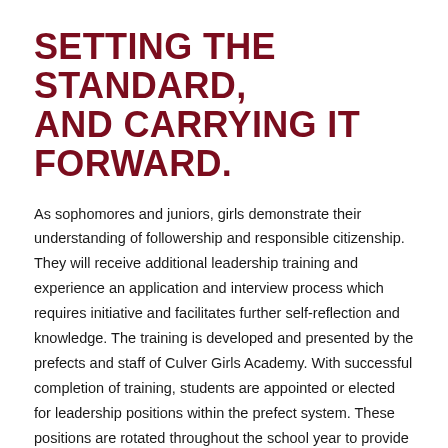SETTING THE STANDARD, AND CARRYING IT FORWARD.
As sophomores and juniors, girls demonstrate their understanding of followership and responsible citizenship. They will receive additional leadership training and experience an application and interview process which requires initiative and facilitates further self-reflection and knowledge. The training is developed and presented by the prefects and staff of Culver Girls Academy. With successful completion of training, students are appointed or elected for leadership positions within the prefect system. These positions are rotated throughout the school year to provide as broad a learning experience as possible. The leaders are mentored and evaluated by fellow prefects and Culver faculty and staff.